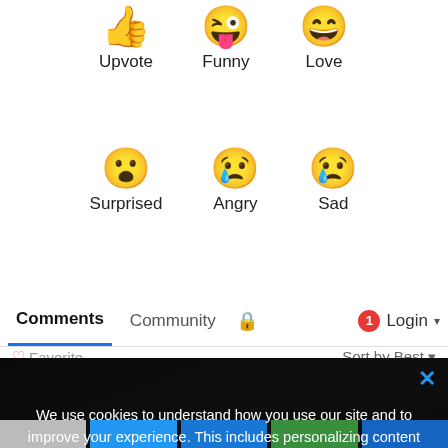[Figure (screenshot): Emoji reaction row 1: thumbs up (Upvote), tongue face (Funny), laughing face (Love)]
[Figure (screenshot): Emoji reaction row 2: surprised face (Surprised), crying face (Angry), sad face with tear (Sad)]
Comments | Community | 🔒 | 1 | Login ▾
♡ Favorite    Sort by Best ▾
We use cookies to understand how you use our site and to improve your experience. This includes personalizing content and advertising. To learn more, click here. By continuing to use our site, you accept our use of cookies, revised Privacy Policy and Terms of Use.
I Agree